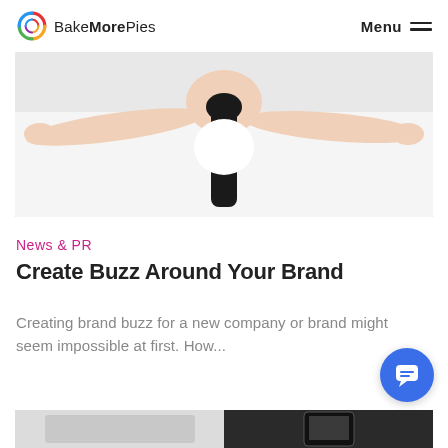BakeMorePies — Menu
[Figure (photo): Overhead or top-down view of a person with long black hair, wearing white, arms extended outward on a white surface]
News & PR
Create Buzz Around Your Brand
Creating brand buzz for a new company or brand might seem impossible at first. How...
[Figure (photo): Partial bottom strip showing two images side by side — left appears light/grey, right appears dark with a phone/tablet device]